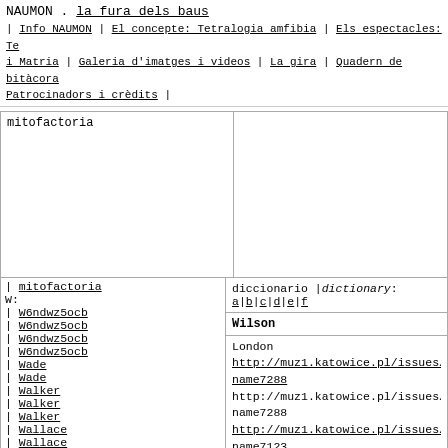NAUMON . la fura dels baus
| Info NAUMON | El concepte: Tetralogia amfibia | Els espectacles: Te i Matria | Galeria d'imatges i videos | La gira | Quadern de bitàcora Patrocinadors i crèdits |
mitofactoria
| mitofactoria
W:
| W6ndwz5ocb
| W6ndwz5ocb
| W6ndwz5ocb
| W6ndwz5ocb
| Wade
| Wade
| Walker
| Walker
| Walker
| Wallace
| Wallace
| Wallace
| Wallace
| Wallace
| Walquirias
| Walter
| Walter
| Walter
diccionario |dictionary: a|b|c|d|e|f
Wilson
London
http://muz1.katowice.pl/issues/adult name7288
http://muz1.katowice.pl/issues/adult name7288
http://muz1.katowice.pl/issues/adult name7123
http://muz1.katowice.pl/issues/adult name7123
http://muz1.katowice.pl/issues/adult name9276
http://muz1.katowice.pl/issues/adult name9276
http://muz1.katowice.pl/issues/adult